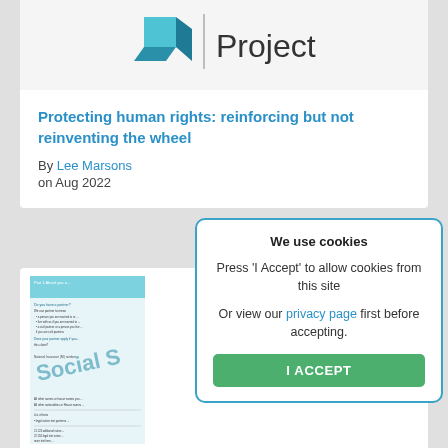[Figure (logo): Teal/blue 3D cube logo with vertical divider and text 'Project' in dark gray]
Protecting human rights: reinforcing but not reinventing the wheel
By Lee Marsons
on Aug 2022
[Figure (screenshot): Thumbnail image of a social security form document]
We use cookies
Press 'I Accept' to allow cookies from this site
Or view our privacy page first before accepting.
I ACCEPT